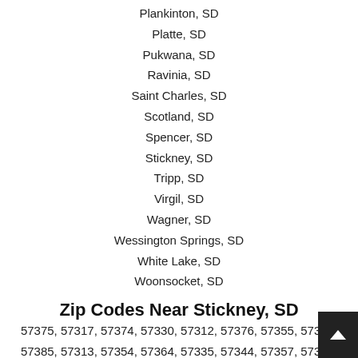Plankinton, SD
Platte, SD
Pukwana, SD
Ravinia, SD
Saint Charles, SD
Scotland, SD
Spencer, SD
Stickney, SD
Tripp, SD
Virgil, SD
Wagner, SD
Wessington Springs, SD
White Lake, SD
Woonsocket, SD
Zip Codes Near Stickney, SD
57375, 57317, 57374, 57330, 57312, 57376, 57355, 57367, 57385, 57313, 57354, 57364, 57335, 57344, 57357, 57325, 57340,